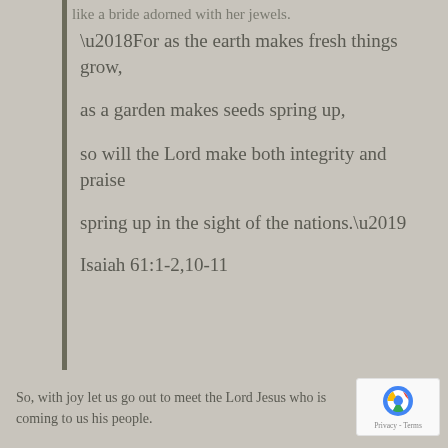like a bride adorned with her jewels.
‘For as the earth makes fresh things grow,

as a garden makes seeds spring up,

so will the Lord make both integrity and praise

spring up in the sight of the nations.’
Isaiah 61:1-2,10-11
So, with joy let us go out to meet the Lord Jesus who is coming to us his people.